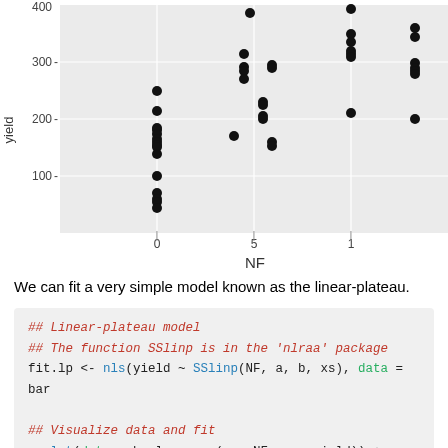[Figure (continuous-plot): Scatter plot of yield vs NF. Y-axis labeled 'yield' with ticks at 100, 200, 300, 400. X-axis labeled 'NF' with ticks at 0, 5, 10 (partially visible). Points clustered at NF=0 (ranging from ~40 to ~255), NF~4-5 (ranging from ~165 to ~385), NF~5-6 (ranging from ~155 to ~300), NF~10 (ranging from ~205 to ~395), NF~10-11 (ranging from ~200 to ~360). Background is light gray with white gridlines.]
We can fit a very simple model known as the linear-plateau.
## Linear-plateau model
## The function SSlinp is in the 'nlraa' package
fit.lp <- nls(yield ~ SSlinp(NF, a, b, xs), data = bar

## Visualize data and fit
ggplot(data = barley, aes(x = NF, y = yield)) +
  geom_point() +